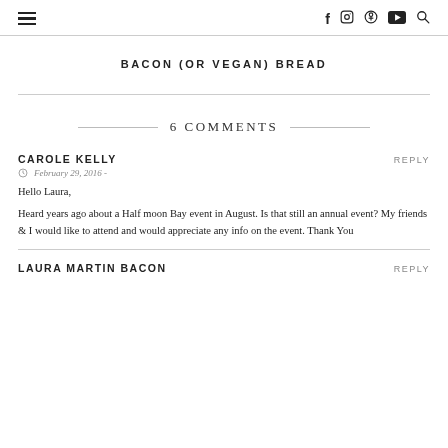☰  f  ⊙  ⊕  ▶  🔍
BACON (OR VEGAN) BREAD
6 COMMENTS
CAROLE KELLY
REPLY
February 29, 2016 -
Hello Laura,
Heard years ago about a Half moon Bay event in August. Is that still an annual event? My friends & I would like to attend and would appreciate any info on the event. Thank You
LAURA MARTIN BACON
REPLY